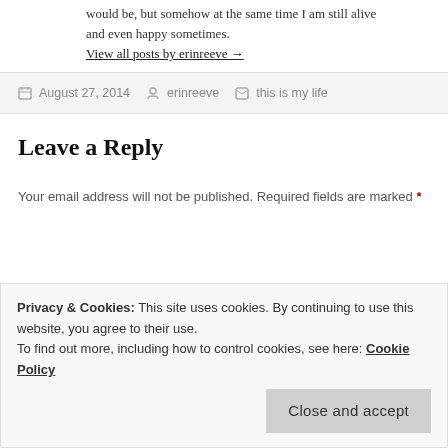would be, but somehow at the same time I am still alive and even happy sometimes.
View all posts by erinreeve →
August 27, 2014   erinreeve   this is my life
Leave a Reply
Your email address will not be published. Required fields are marked *
Privacy & Cookies: This site uses cookies. By continuing to use this website, you agree to their use.
To find out more, including how to control cookies, see here: Cookie Policy
Close and accept